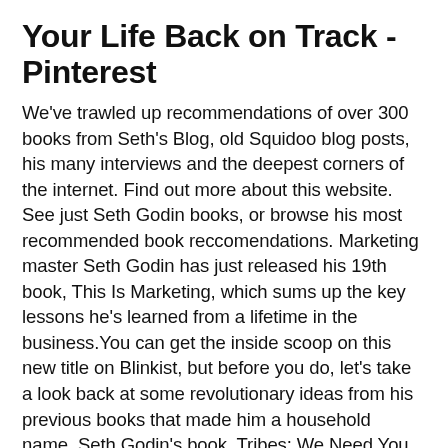Your Life Back on Track - Pinterest
We've trawled up recommendations of over 300 books from Seth's Blog, old Squidoo blog posts, his many interviews and the deepest corners of the internet. Find out more about this website. See just Seth Godin books, or browse his most recommended book reccomendations. Marketing master Seth Godin has just released his 19th book, This Is Marketing, which sums up the key lessons he's learned from a lifetime in the business.You can get the inside scoop on this new title on Blinkist, but before you do, let's take a look back at some revolutionary ideas from his previous books that made him a household name. Seth Godin's book, Tribes: We Need You to Lead Us (2008), is about